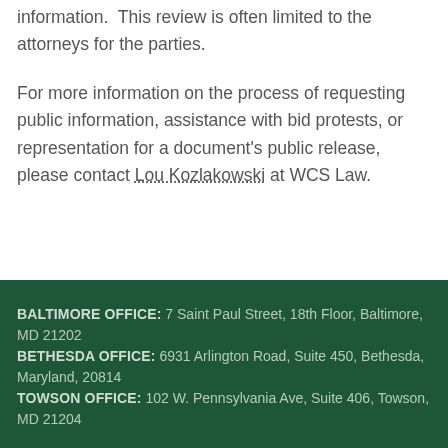information.  This review is often limited to the attorneys for the parties.
For more information on the process of requesting public information, assistance with bid protests, or representation for a document's public release, please contact Lou Kozlakowski at WCS Law.
BALTIMORE OFFICE: 7 Saint Paul Street, 18th Floor, Baltimore, MD 21202
BETHESDA OFFICE: 6931 Arlington Road, Suite 450, Bethesda, Maryland, 20814
TOWSON OFFICE: 102 W. Pennsylvania Ave, Suite 406, Towson, MD 21204